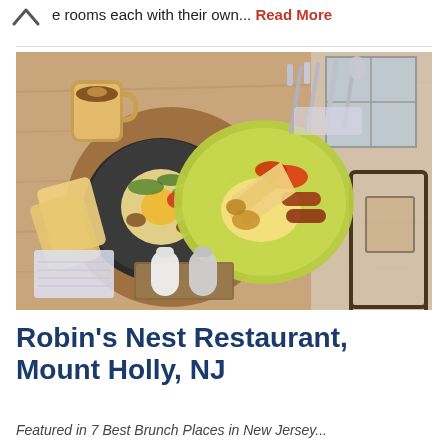e rooms each with their own... Read More
[Figure (photo): Overhead view of brunch dishes on a wooden table: a black cast iron skillet with eggs, greens and mushrooms on a wooden board, a green plate with scrambled eggs, sausages, toast and roasted peppers, plus salt and pepper shakers, cutlery, and a coffee mug.]
Robin's Nest Restaurant, Mount Holly, NJ
Featured in 7 Best Brunch Places in New Jersey...